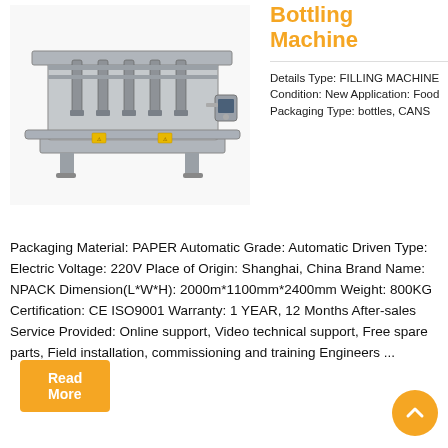Bottling Machine
[Figure (photo): Industrial bottling/filling machine with stainless steel frame, multiple filling nozzles, two conveyor rails, and a control panel on the right side.]
Details Type: FILLING MACHINE Condition: New Application: Food Packaging Type: bottles, CANS
Packaging Material: PAPER Automatic Grade: Automatic Driven Type: Electric Voltage: 220V Place of Origin: Shanghai, China Brand Name: NPACK Dimension(L*W*H): 2000m*1100mm*2400mm Weight: 800KG Certification: CE ISO9001 Warranty: 1 YEAR, 12 Months After-sales Service Provided: Online support, Video technical support, Free spare parts, Field installation, commissioning and training Engineers ...
Read More